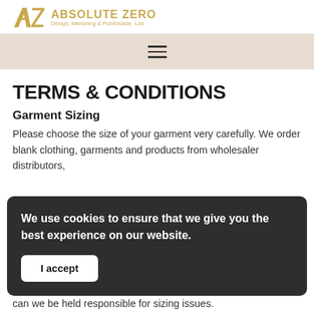Absolute Zero — Design, Marketing & Publicidade, Lda
[Figure (other): Navigation hamburger menu icon (three horizontal lines) on a beige/tan background]
TERMS & CONDITIONS
Garment Sizing
Please choose the size of your garment very carefully. We order blank clothing, garments and products from wholesaler distributors,
We use cookies to ensure that we give you the best experience on our website.
I accept
can we be held responsible for sizing issues.